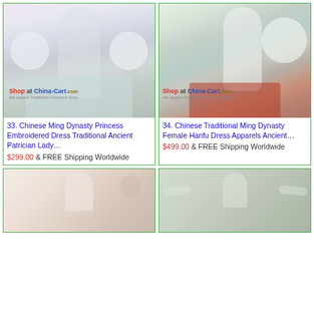[Figure (photo): Woman wearing white/light blue Chinese Ming Dynasty Hanfu dress with wide sleeves, standing in front of floral background with Chinese decor. Watermark: Shop at China-Cart.com]
33. Chinese Ming Dynasty Princess Embroidered Dress Traditional Ancient Patrician Lady…
$299.00 & FREE Shipping Worldwide
[Figure (photo): Woman wearing white and red Chinese Ming Dynasty Hanfu dress with wide sleeves, outdoors near rocks and bamboo. Watermark: Shop at China-Cart.com]
34. Chinese Traditional Ming Dynasty Female Hanfu Dress Apparels Ancient…
$499.00 & FREE Shipping Worldwide
[Figure (photo): Woman wearing floral Chinese traditional dress, partial view showing upper body]
[Figure (photo): Woman in Chinese traditional dress outdoors, arms slightly extended]